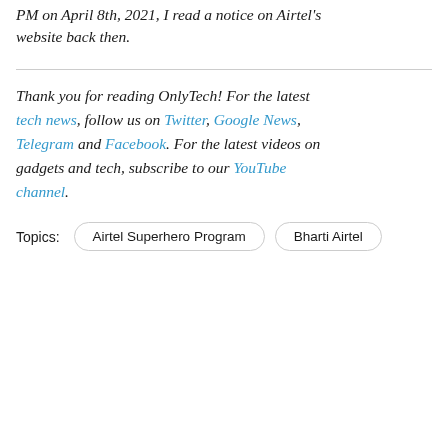PM on April 8th, 2021, I read a notice on Airtel's website back then.
Thank you for reading OnlyTech! For the latest tech news, follow us on Twitter, Google News, Telegram and Facebook. For the latest videos on gadgets and tech, subscribe to our YouTube channel.
Topics: Airtel Superhero Program  Bharti Airtel